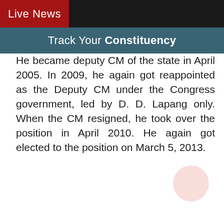Live News
Track Your Constituency
He became deputy CM of the state in April 2005. In 2009, he again got reappointed as the Deputy CM under the Congress government, led by D. D. Lapang only. When the CM resigned, he took over the position in April 2010. He again got elected to the position on March 5, 2013.
ADVERTISEMENT